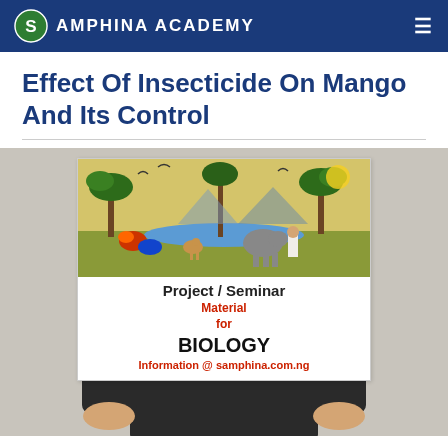SAMPHINA ACADEMY
Effect Of Insecticide On Mango And Its Control
[Figure (illustration): Person in suit holding a white sign/board that contains a tropical wildlife scene illustration at top and text reading 'Project / Seminar Material for BIOLOGY Information @ samphina.com.ng']